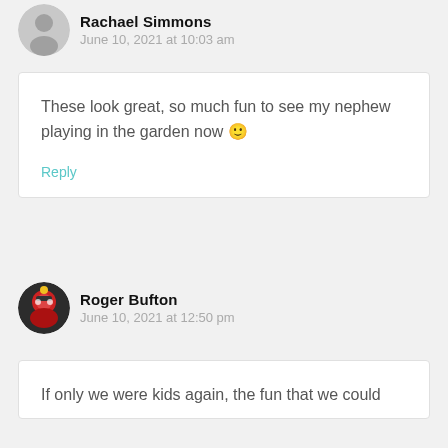Rachael Simmons
June 10, 2021 at 10:03 am
These look great, so much fun to see my nephew playing in the garden now 🙂
Reply
Roger Bufton
June 10, 2021 at 12:50 pm
If only we were kids again, the fun that we could